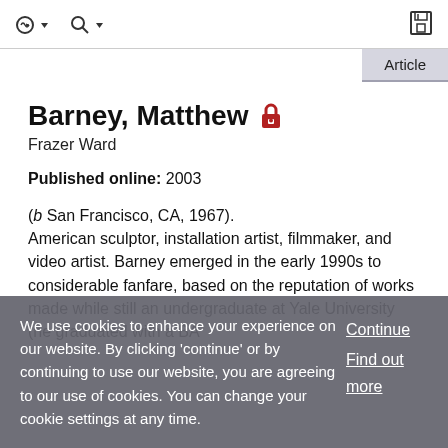Toolbar navigation with login, search, and save icons
Article
Barney, Matthew 🔒
Frazer Ward
Published online: 2003
(b San Francisco, CA, 1967). American sculptor, installation artist, filmmaker, and video artist. Barney emerged in the early 1990s to considerable fanfare, based on the reputation of works made while still an undergraduate at Yale University (he graduated with a BA
We use cookies to enhance your experience on our website. By clicking 'continue' or by continuing to use our website, you are agreeing to our use of cookies. You can change your cookie settings at any time.